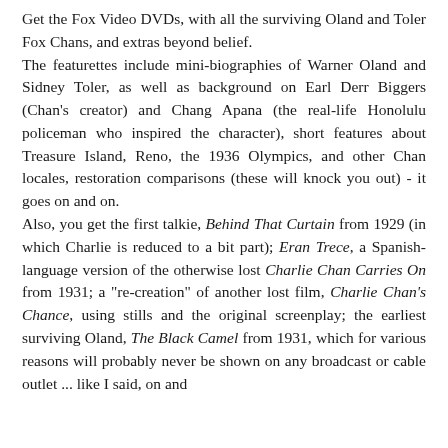Get the Fox Video DVDs, with all the surviving Oland and Toler Fox Chans, and extras beyond belief. The featurettes include mini-biographies of Warner Oland and Sidney Toler, as well as background on Earl Derr Biggers (Chan's creator) and Chang Apana (the real-life Honolulu policeman who inspired the character), short features about Treasure Island, Reno, the 1936 Olympics, and other Chan locales, restoration comparisons (these will knock you out) - it goes on and on. Also, you get the first talkie, Behind That Curtain from 1929 (in which Charlie is reduced to a bit part); Eran Trece, a Spanish-language version of the otherwise lost Charlie Chan Carries On from 1931; a "re-creation" of another lost film, Charlie Chan's Chance, using stills and the original screenplay; the earliest surviving Oland, The Black Camel from 1931, which for various reasons will probably never be shown on any broadcast or cable outlet ... like I said, on and